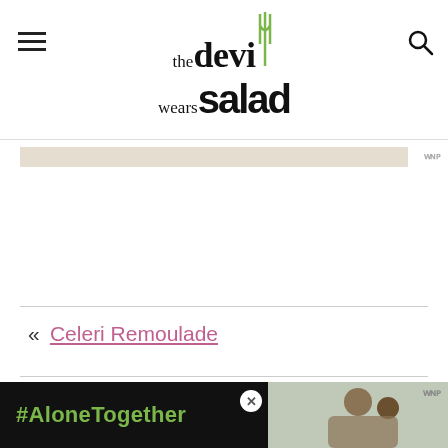the devi wears salad
[Figure (screenshot): Tan/beige advertisement strip placeholder]
« Celeri Remoulade
Air Fryer Cauliflower and Roasted Chickpeas »
[Figure (screenshot): Bottom advertisement banner: #AloneTogether with photo of two people]